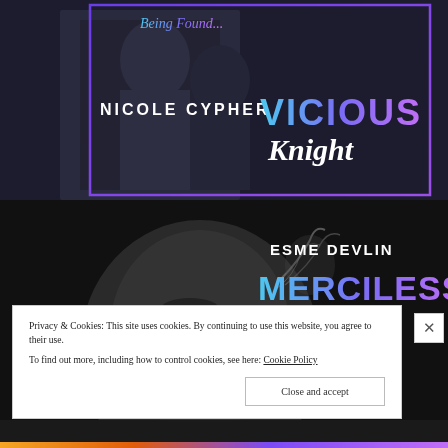[Figure (illustration): Book cover for 'Vicious Knight' by Nicole Cypher — dark background with figures, neon blue/purple gradient title text, white author name]
[Figure (illustration): Book cover for 'Merciless Knave' by Esme Devlin — black and white close-up of man exhaling smoke, blue/purple gradient title text, white author name]
Privacy & Cookies: This site uses cookies. By continuing to use this website, you agree to their use.
To find out more, including how to control cookies, see here: Cookie Policy
Close and accept